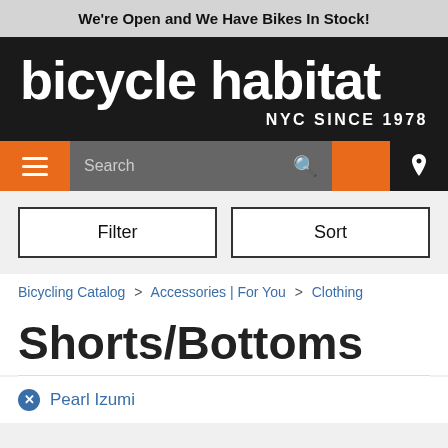We're Open and We Have Bikes In Stock!
[Figure (logo): Bicycle Habitat logo — white text on dark background reading 'bicycle habitat' with 'NYC SINCE 1978' underneath]
[Figure (screenshot): Navigation bar with hamburger menu (orange), search field (gray), orange spacer, and location pin icon (black)]
Filter | Sort
Bicycling Catalog > Accessories | For You > Clothing
Shorts/Bottoms
Pearl Izumi